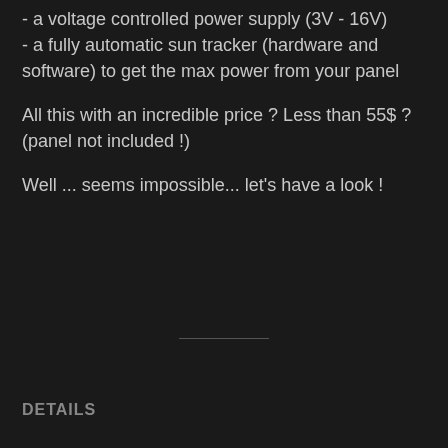- a voltage controlled power supply (3V - 16V)
- a fully automatic sun tracker (hardware and software) to get the max power from your panel
All this with an incredible price ? Less than 55$ ? (panel not included !)
Well ... seems impossible... let's have a look !
DETAILS
Since the very beginning of this project in may, things have evolved a lot. I am now extremely honored to be one of